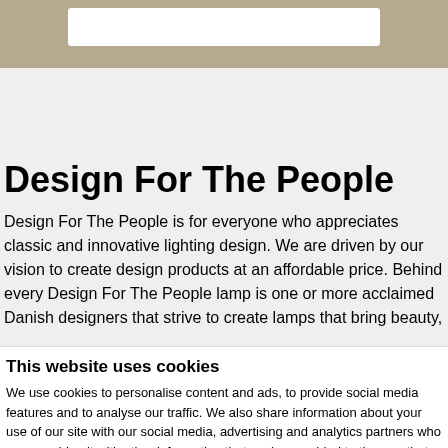[Figure (other): Top navigation bar with beige/tan background and a white search box]
Design For The People
Design For The People is for everyone who appreciates classic and innovative lighting design. We are driven by our vision to create design products at an affordable price. Behind every Design For The People lamp is one or more acclaimed Danish designers that strive to create lamps that bring beauty,
This website uses cookies
We use cookies to personalise content and ads, to provide social media features and to analyse our traffic. We also share information about your use of our site with our social media, advertising and analytics partners who may combine it with other information that you've provided to them or that they've collected from your use of their services.